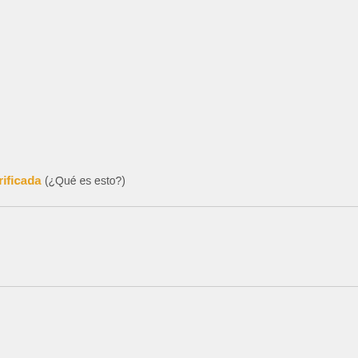erificada (¿Qué es esto?)
2018
.
le describes in their review description, if you're using sheet set ma
reds of sheets within seconds. The investment is well worth it.